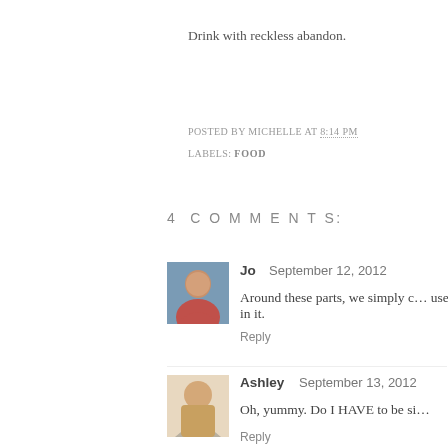Drink with reckless abandon.
POSTED BY MICHELLE AT 8:14 PM
LABELS: FOOD
4 COMMENTS:
Jo  September 12, 2012
Around these parts, we simply c... use in it.
Reply
Ashley  September 13, 2012
Oh, yummy. Do I HAVE to be s...
Reply